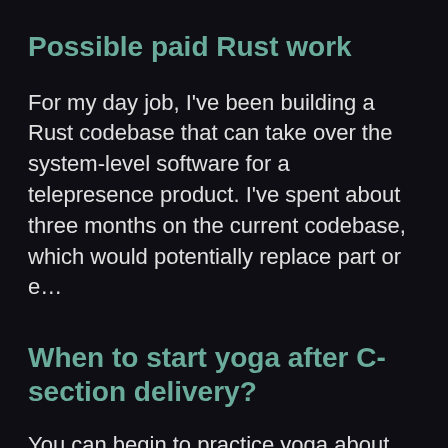Possible paid Rust work
For my day job, I've been building a Rust codebase that can take over the system-level software for a telepresence product. I've spent about three months on the current codebase, which would potentially replace part or e&hellip;
When to start yoga after C-section delivery?
You can begin to practice yoga about six to eight weeks after your C-section delivery. It is important that you consult a doctor before…